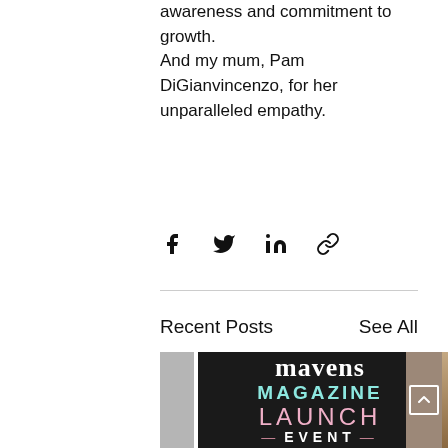awareness and commitment to growth.
And my mum, Pam DiGianvincenzo, for her unparalleled empathy.
[Figure (infographic): Social share icons: Facebook, Twitter, LinkedIn, and a link/chain icon in a horizontal row]
Recent Posts
See All
[Figure (infographic): Mavens Magazine Launch Event promotional card with black background, 'mavens' in white serif bold, 'MAGAZINE' in teal/mint uppercase, 'LAUNCH' in pink/rose uppercase, '—EVENT—' in white with decorative dashes. A scroll-up button with up arrow on right side, and a partially visible brown side card.]